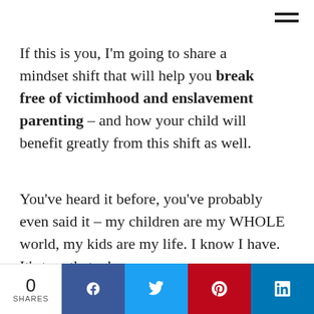[Figure (other): Hamburger menu icon (three horizontal lines) in top right corner]
If this is you, I'm going to share a mindset shift that will help you break free of victimhood and enslavement parenting – and how your child will benefit greatly from this shift as well.
You've heard it before, you've probably even said it – my children are my WHOLE world, my kids are my life. I know I have. It's true that when we
0 SHARES   f   🐦   P   in